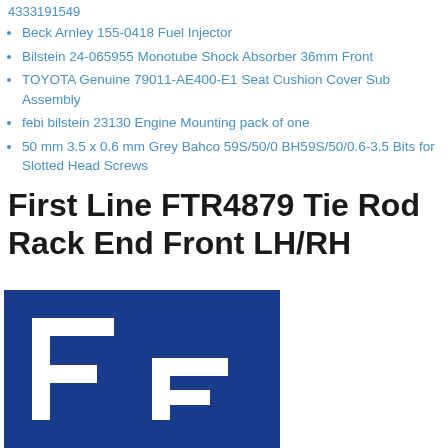4333191549
Beck Arnley 155-0418 Fuel Injector
Bilstein 24-065955 Monotube Shock Absorber 36mm Front
TOYOTA Genuine 79011-AE400-E1 Seat Cushion Cover Sub Assembly
febi bilstein 23130 Engine Mounting pack of one
50 mm 3.5 x 0.6 mm Grey Bahco 59S/50/0 BH59S/50/0.6-3.5 Bits for Slotted Head Screws
First Line FTR4879 Tie Rod Rack End Front LH/RH
[Figure (logo): First Line logo — white stylized 'FL' letters on dark blue background]